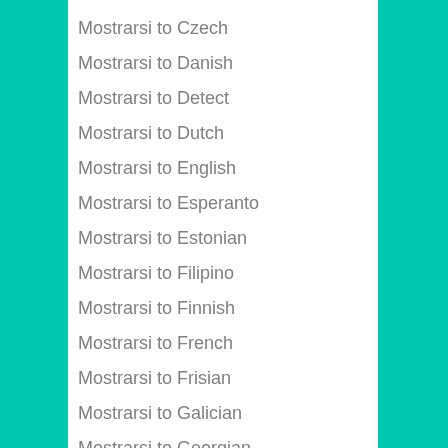Mostrarsi to Czech
Mostrarsi to Danish
Mostrarsi to Detect
Mostrarsi to Dutch
Mostrarsi to English
Mostrarsi to Esperanto
Mostrarsi to Estonian
Mostrarsi to Filipino
Mostrarsi to Finnish
Mostrarsi to French
Mostrarsi to Frisian
Mostrarsi to Galician
Mostrarsi to Georgian
Mostrarsi to G...